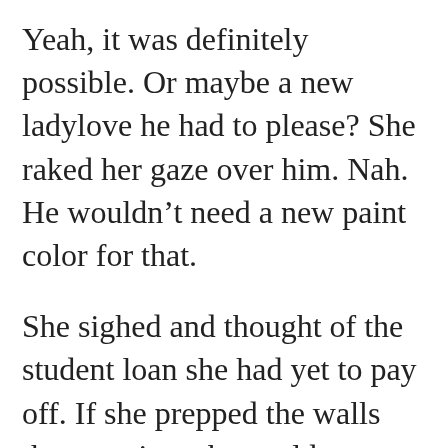Yeah, it was definitely possible. Or maybe a new ladylove he had to please? She raked her gaze over him. Nah. He wouldn't need a new paint color for that.
She sighed and thought of the student loan she had yet to pay off. If she prepped the walls that evening, she could probably get the painting done by Monday. “All right. But I’d have to start tonight